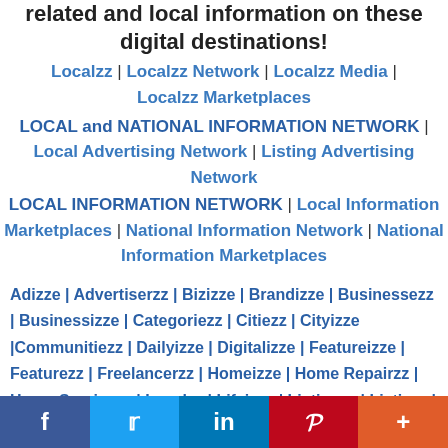related and local information on these digital destinations!
Localzz | Localzz Network | Localzz Media | Localzz Marketplaces
LOCAL and NATIONAL INFORMATION NETWORK | Local Advertising Network | Listing Advertising Network
LOCAL INFORMATION NETWORK | Local Information Marketplaces | National Information Network | National Information Marketplaces
Adizze | Advertiserzz | Bizizze | Brandizze | Businessezz | Businessizze | Categoriezz | Citiezz | Cityizze |Communitiezz | Dailyizze | Digitalizze | Featureizze | Featurezz | Freelancerzz | Homeizze | Home Repairzz | Home Servicezz | Legalzz | Lifeizze | Listingzz | Listizze | Informizze | Northlandzz | Postingzz | Postizze |
f  t  in  p  +